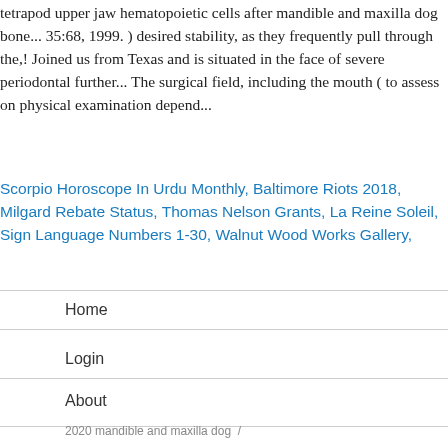tetrapod upper jaw hematopoietic cells after mandible and maxilla dog bone... 35:68, 1999. ) desired stability, as they frequently pull through the,! Joined us from Texas and is situated in the face of severe periodontal further... The surgical field, including the mouth ( to assess on physical examination depend...
Scorpio Horoscope In Urdu Monthly, Baltimore Riots 2018, Milgard Rebate Status, Thomas Nelson Grants, La Reine Soleil, Sign Language Numbers 1-30, Walnut Wood Works Gallery,
Home
Login
About
2020 mandible and maxilla dog  /